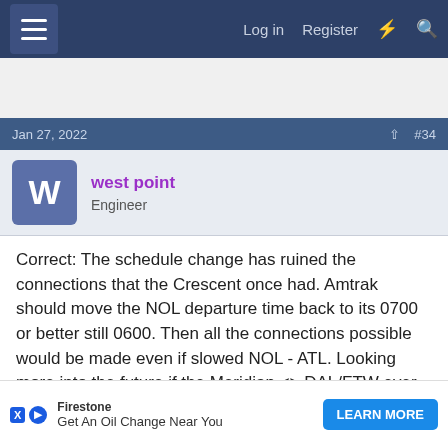Log in  Register
Jan 27, 2022  #34
west point
Engineer
Correct: The schedule change has ruined the connections that the Crescent once had. Amtrak should move the NOL departure time back to its 0700 or better still 0600. Then all the connections possible would be made even if slowed NOL - ATL. Looking more into the future if the Meridian <> DAL/FTW ever happens then all those persons would have many connection possibilities.

What are the downsides? Mainly the crewing of the train Merid...ill be need...proba...